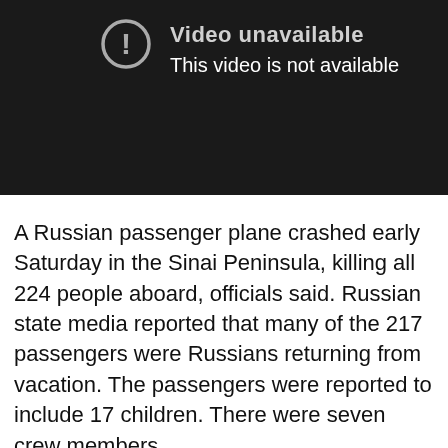[Figure (screenshot): YouTube-style video unavailable error screen with exclamation mark icon, showing 'Video unavailable' title and 'This video is not available' message on a dark background.]
A Russian passenger plane crashed early Saturday in the Sinai Peninsula, killing all 224 people aboard, officials said. Russian state media reported that many of the 217 passengers were Russians returning from vacation. The passengers were reported to include 17 children. There were seven crew members.